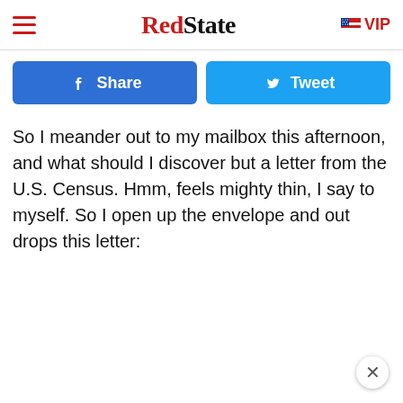RedState | VIP
[Figure (other): Facebook Share button and Twitter Tweet button side by side]
So I meander out to my mailbox this afternoon, and what should I discover but a letter from the U.S. Census.  Hmm, feels mighty thin, I say to myself.  So I open up the envelope and out drops this letter: